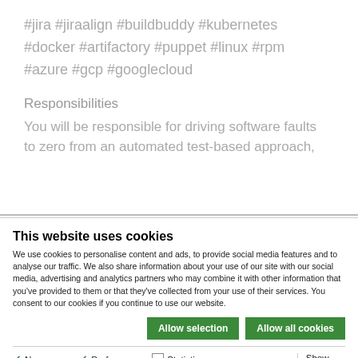#jira #jiraalign #buildbuddy #kubernetes #docker #artifactory #puppet #linux #rpm #azure #gcp #googlecloud
Responsibilities
You will be responsible for driving software faults to zero from an automated test-based approach,
This website uses cookies
We use cookies to personalise content and ads, to provide social media features and to analyse our traffic. We also share information about your use of our site with our social media, advertising and analytics partners who may combine it with other information that you've provided to them or that they've collected from your use of their services. You consent to our cookies if you continue to use our website.
Allow selection | Allow all cookies
Necessary | Preferences | Statistics | Marketing | Show details